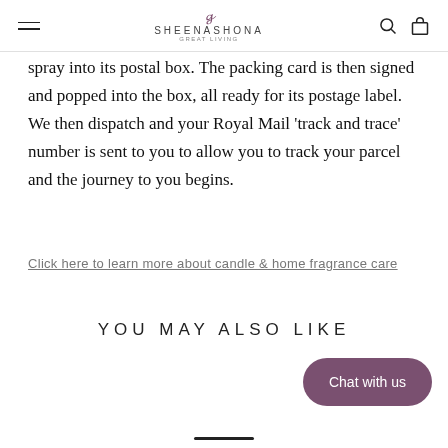SHEENASHONA
spray into its postal box. The packing card is then signed and popped into the box, all ready for its postage label. We then dispatch and your Royal Mail 'track and trace' number is sent to you to allow you to track your parcel and the journey to you begins.
Click here to learn more about candle & home fragrance care
YOU MAY ALSO LIKE
Chat with us